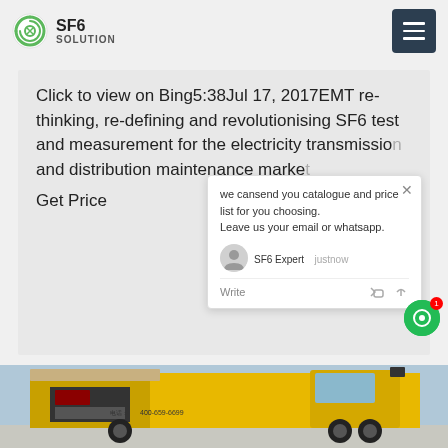SF6 SOLUTION
Click to view on Bing5:38Jul 17, 2017EMT re-thinking, re-defining and revolutionising SF6 test and measurement for the electricity transmission and distribution maintenance market
Get Price
we cansend you catalogue and price list for you choosing. Leave us your email or whatsapp.
SF6 Expert   justnow
Write
[Figure (photo): Yellow service truck with open side panel showing equipment, Chinese text and phone number 400-659-6699 visible on side]